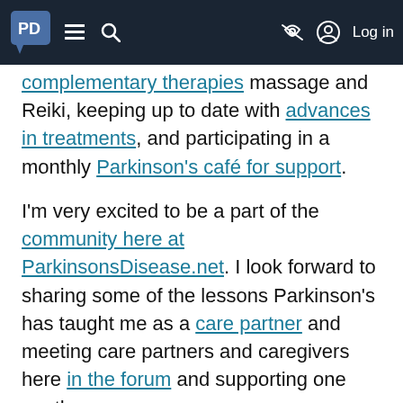PD [logo] ☰ 🔍 [eye-off icon] [user icon] Log in
complementary therapies massage and Reiki, keeping up to date with advances in treatments, and participating in a monthly Parkinson's café for support.
I'm very excited to be a part of the community here at ParkinsonsDisease.net. I look forward to sharing some of the lessons Parkinson's has taught me as a care partner and meeting care partners and caregivers here in the forum and supporting one another.